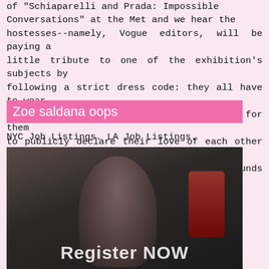of "Schiaparelli and Prada: Impossible Conversations" at the Met and we hear the hostesses--namely, Vogue editors, will be paying a little tribute to one of the exhibition's subjects by following a strict dress code: they all have to wear pink. Was the event just an opportunity for them to publicly declare their love of each other and of man skirts to all the haters? Kinda sounds like it.
Zoe saldana oops
NYC Job Listings. LA Job Listings.
[Figure (photo): A woman with sunglasses and dark hair walking outdoors, with a red chair visible in the background. Overlay text reads 'Register NOW'.]